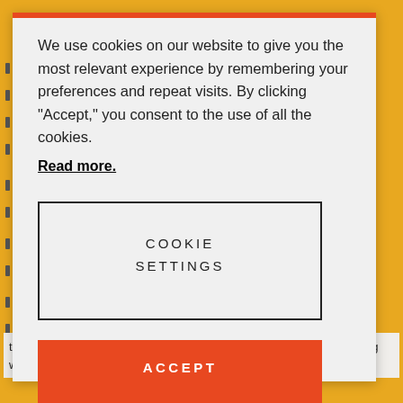We use cookies on our website to give you the most relevant experience by remembering your preferences and repeat visits. By clicking “Accept,” you consent to the use of all the cookies.
Read more.
COOKIE SETTINGS
ACCEPT
the flies have to develop rapidly to keep up. Why spend time fornicating when there is food to be harvested in a